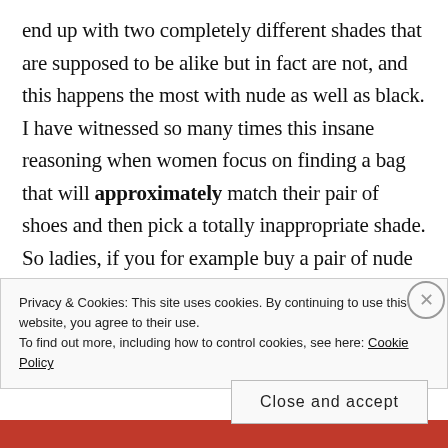end up with two completely different shades that are supposed to be alike but in fact are not, and this happens the most with nude as well as black. I have witnessed so many times this insane reasoning when women focus on finding a bag that will approximately match their pair of shoes and then pick a totally inappropriate shade. So ladies, if you for example buy a pair of nude sandals in a store where they don't sell bags that
Privacy & Cookies: This site uses cookies. By continuing to use this website, you agree to their use.
To find out more, including how to control cookies, see here: Cookie Policy
Close and accept